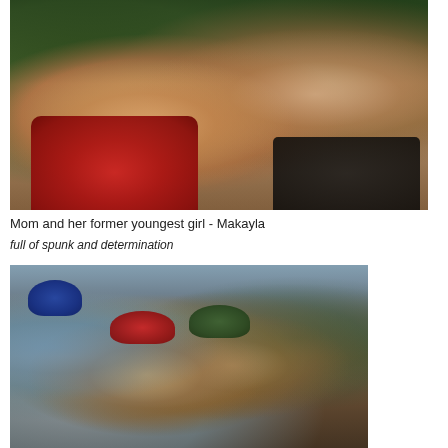[Figure (photo): A young girl with blonde hair and a red jacket smiling closely with a woman with long blonde hair, both outdoors with trees in background]
Mom and her former youngest girl - Makayla
full of spunk and determination
[Figure (photo): Group of children and adults outdoors near rocky terrain and trees, wearing hats including blue, red, and green hats]